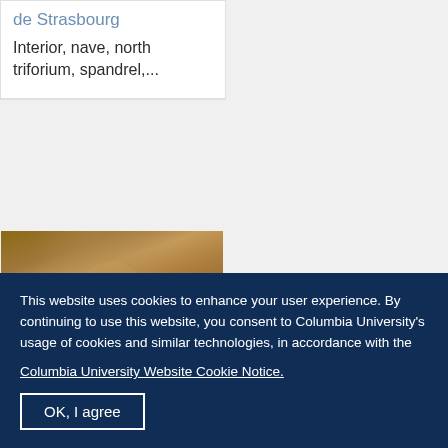de Strasbourg
Interior, nave, north triforium, spandrel,...
[Figure (photo): Photograph of a medieval stone sculpture/statue, likely from the Strasbourg Cathedral interior, showing a robed figure carved in warm brownish stone]
This website uses cookies to enhance your user experience. By continuing to use this website, you consent to Columbia University's usage of cookies and similar technologies, in accordance with the
Columbia University Website Cookie Notice.
OK, I agree